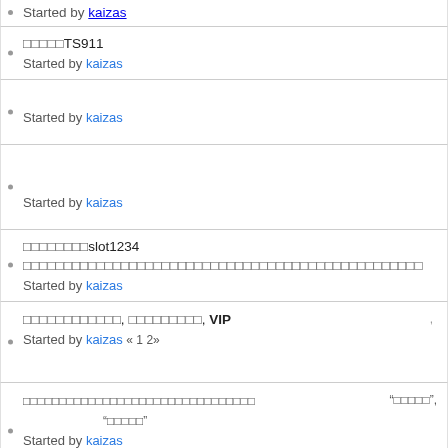Started by kaizas (partial row at top)
□□□□□TS911
Started by kaizas
Started by kaizas
Started by kaizas
□□□□□□□□slot1234 □□□□□□□□□□□□□□□□□□□□□□□□□□□□□□□□□□□□□□□□□□□□□□□□□
Started by kaizas
VIP
Started by kaizas « 1 2»
" " 
" "
Started by kaizas
LucaclubTH
Started by kaizas